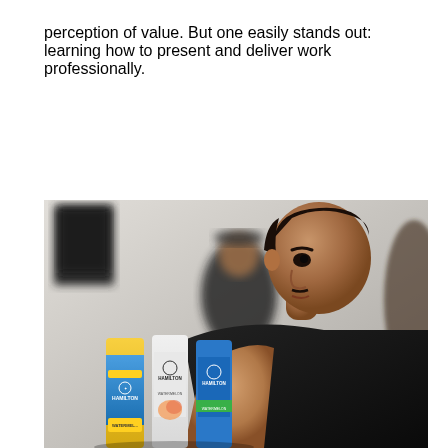perception of value. But one easily stands out: learning how to present and deliver work professionally.
[Figure (photo): A young man in a black t-shirt examining Hamilton-branded beverage cans, holding them and looking closely at them. Another person is visible blurred in the background. The cans are colorful with blue, yellow, and white designs.]